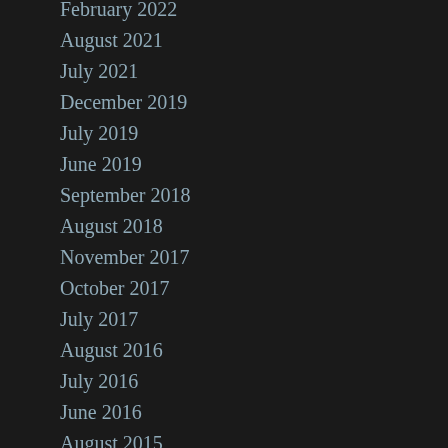February 2022
August 2021
July 2021
December 2019
July 2019
June 2019
September 2018
August 2018
November 2017
October 2017
July 2017
August 2016
July 2016
June 2016
August 2015
July 2015
June 2015
April 2015
August 2014